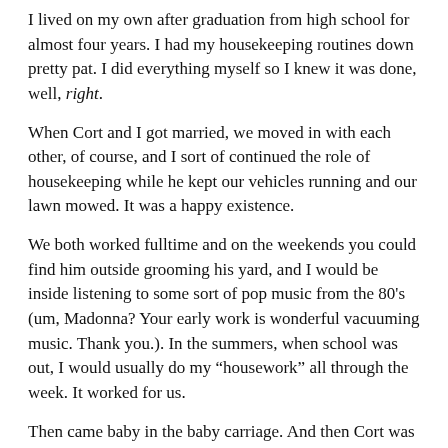I lived on my own after graduation from high school for almost four years. I had my housekeeping routines down pretty pat. I did everything myself so I knew it was done, well, right.
When Cort and I got married, we moved in with each other, of course, and I sort of continued the role of housekeeping while he kept our vehicles running and our lawn mowed. It was a happy existence.
We both worked fulltime and on the weekends you could find him outside grooming his yard, and I would be inside listening to some sort of pop music from the 80’s (um, Madonna? Your early work is wonderful vacuuming music. Thank you.). In the summers, when school was out, I would usually do my “housework” all through the week. It worked for us.
Then came baby in the baby carriage. And then Cort was laid off. And then I worked two jobs to help make ends meet. And then I had PPD meltdowns.
And then? I had a househusband.
What is a “househusband,” you ask? Oh it is only the most wonderful invention EVER!